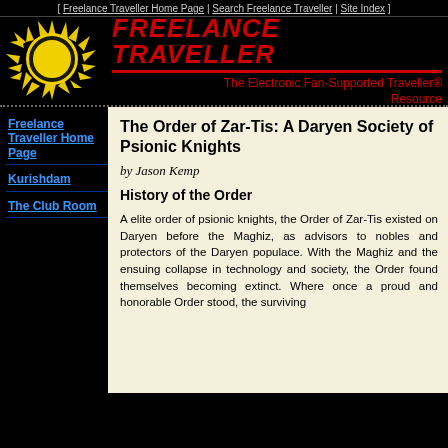[ Freelance Traveller Home Page | Search Freelance Traveller | Site Index ]
FREELANCE TRAVELLER
The Electronic Fan-Supported Traveller® Resource
Freelance Traveller Home Page
Kurishdam
The Club Room
The Order of Zar-Tis: A Daryen Society of Psionic Knights
by Jason Kemp
History of the Order
A elite order of psionic knights, the Order of Zar-Tis existed on Daryen before the Maghiz, as advisors to nobles and protectors of the Daryen populace. With the Maghiz and the ensuing collapse in technology and society, the Order found themselves becoming extinct. Where once a proud and honorable Order stood, the surviving